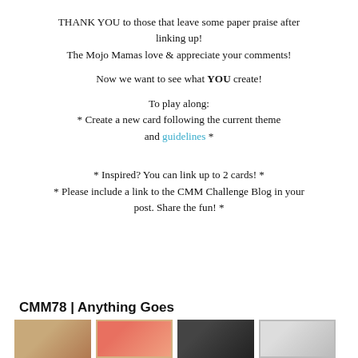THANK YOU to those that leave some paper praise after linking up! The Mojo Mamas love & appreciate your comments!
Now we want to see what YOU create!
To play along:
* Create a new card following the current theme and guidelines *
* Inspired? You can link up to 2 cards! *
* Please include a link to the CMM Challenge Blog in your post. Share the fun! *
CMM78 | Anything Goes
[Figure (photo): Four thumbnail images of cards at the bottom of the page]